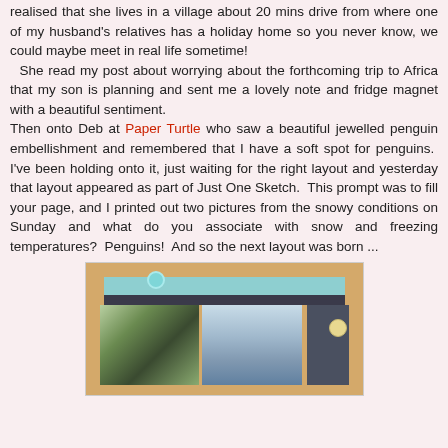realised that she lives in a village about 20 mins drive from where one of my husband's relatives has a holiday home so you never know, we could maybe meet in real life sometime!  She read my post about worrying about the forthcoming trip to Africa that my son is planning and sent me a lovely note and fridge magnet with a beautiful sentiment.
Then onto Deb at Paper Turtle who saw a beautiful jewelled penguin embellishment and remembered that I have a soft spot for penguins.  I've been holding onto it, just waiting for the right layout and yesterday that layout appeared as part of Just One Sketch.  This prompt was to fill your page, and I printed out two pictures from the snowy conditions on Sunday and what do you associate with snow and freezing temperatures?  Penguins!  And so the next layout was born ...
[Figure (photo): A scrapbook layout page with an orange/tan background, a teal strip at the top with a blue flower embellishment, a dark strip below, and two snow scene photographs side by side on the left portion, with a dark panel on the right.]